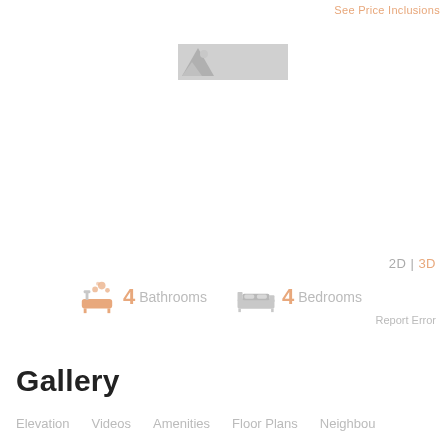See Price Inclusions
[Figure (logo): Small property/brand logo image thumbnail]
2D | 3D
4 Bathrooms  4 Bedrooms
Report Error
Gallery
Elevation   Videos   Amenities   Floor Plans   Neighbou